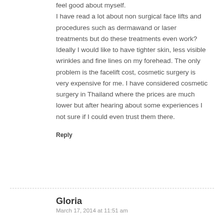feel good about myself. I have read a lot about non surgical face lifts and procedures such as dermawand or laser treatments but do these treatments even work? Ideally I would like to have tighter skin, less visible wrinkles and fine lines on my forehead. The only problem is the facelift cost, cosmetic surgery is very expensive for me. I have considered cosmetic surgery in Thailand where the prices are much lower but after hearing about some experiences I not sure if I could even trust them there.
Reply
Gloria
March 17, 2014 at 11:51 am